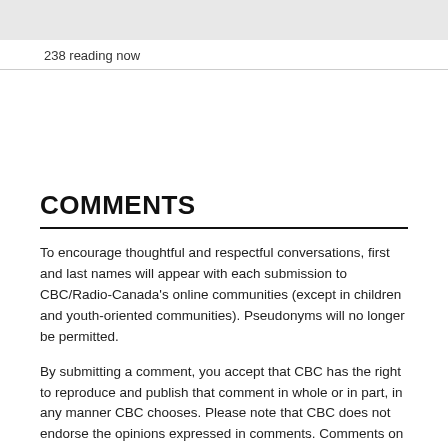238 reading now
COMMENTS
To encourage thoughtful and respectful conversations, first and last names will appear with each submission to CBC/Radio-Canada's online communities (except in children and youth-oriented communities). Pseudonyms will no longer be permitted.
By submitting a comment, you accept that CBC has the right to reproduce and publish that comment in whole or in part, in any manner CBC chooses. Please note that CBC does not endorse the opinions expressed in comments. Comments on